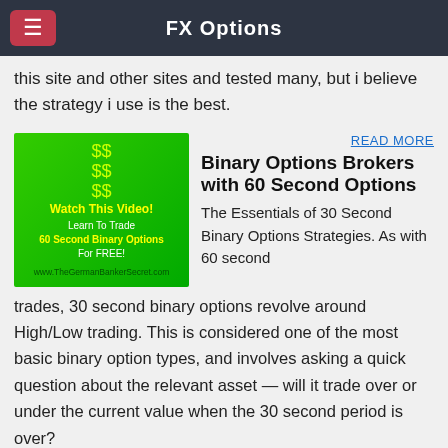FX Options
this site and other sites and tested many, but i believe the strategy i use is the best.
READ MORE
[Figure (illustration): Green advertisement banner: Watch This Video! Learn To Trade 60 Second Binary Options For FREE! www.TheGermanBankerSecret.com]
Binary Options Brokers with 60 Second Options
The Essentials of 30 Second Binary Options Strategies. As with 60 second trades, 30 second binary options revolve around High/Low trading. This is considered one of the most basic binary option types, and involves asking a quick question about the relevant asset — will it trade over or under the current value when the 30 second period is over?
READ MORE
[Figure (illustration): Purple advertisement banner: Profit in 60 Seconds Binary]